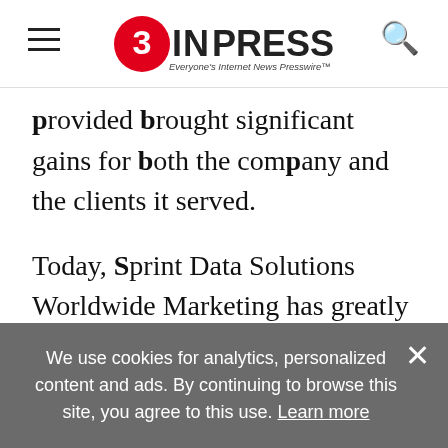EIN PRESSWIRE — Everyone's Internet News Presswire
provided brought significant gains for both the company and the clients it served.

Today, Sprint Data Solutions Worldwide Marketing has greatly expanded its range far beyond its initial service area of just the hometown of Las Vegas, Nevada. The entire United States is served, including Alaska and Hawaii. Businesses ready to cross borders can access all of North America, with databases for the markets in Canada and Mexico.
We use cookies for analytics, personalized content and ads. By continuing to browse this site, you agree to this use. Learn more